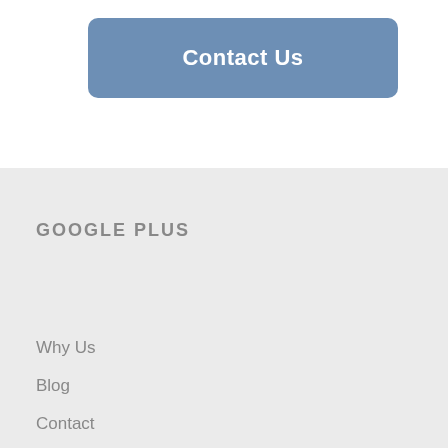Contact Us
GOOGLE PLUS
Why Us
Blog
Contact